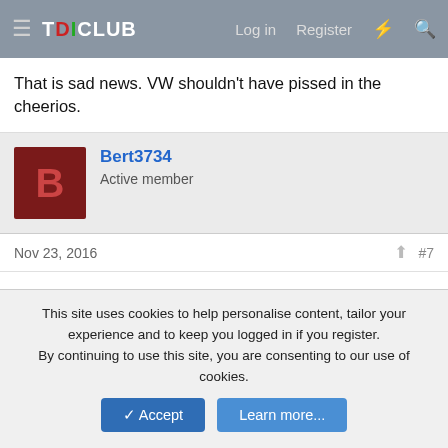TDICLUB — Log in  Register
That is sad news. VW shouldn't have pissed in the cheerios.
Bert3734
Active member
Nov 23, 2016   #7
Very unfortunate news.

Assuming this will affect the unsold 2015's on the lots (like the one I have a deposit on) ...
GWbiker
This site uses cookies to help personalise content, tailor your experience and to keep you logged in if you register.
By continuing to use this site, you are consenting to our use of cookies.